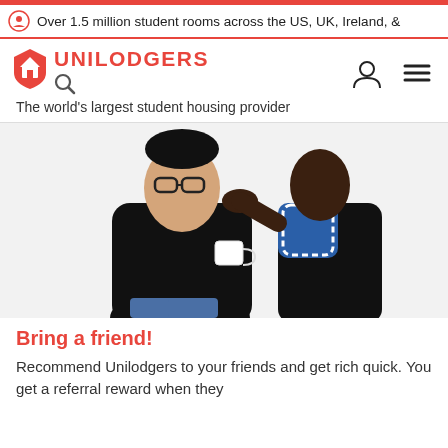Over 1.5 million student rooms across the US, UK, Ireland, &
[Figure (logo): Unilodgers logo with house/shield icon in red and magnifying glass search icon below]
The world's largest student housing provider
[Figure (photo): Two young people on white background — one holding a white cup, the other whispering into their ear]
Bring a friend!
Recommend Unilodgers to your friends and get rich quick. You get a referral reward when they